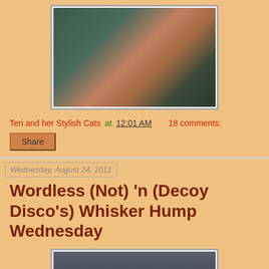[Figure (photo): Photo of a sphynx cat lying on dark bedding, wearing a collar, looking at the camera]
Teri and her Stylish Cats at 12:01 AM   18 comments:
Share
Wednesday, August 24, 2011
Wordless (Not) 'n (Decoy Disco's) Whisker Hump Wednesday
[Figure (photo): Photo of cats on a gray surface with colorful objects]